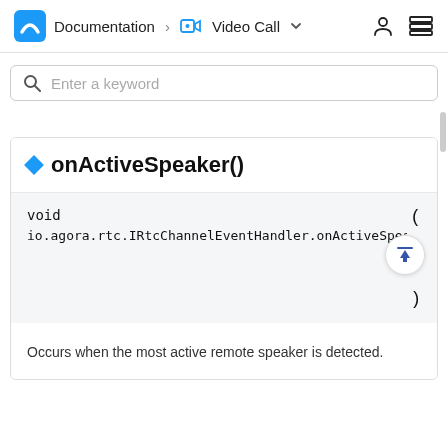Documentation > Video Call
Enter a keyword
onActiveSpeaker()
void io.agora.rtc.IRtcChannelEventHandler.onActiveSpeaker
Occurs when the most active remote speaker is detected.